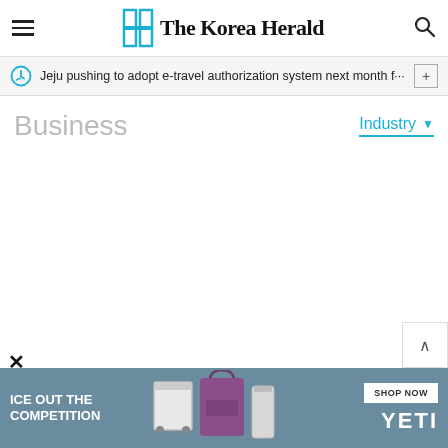The Korea Herald
Jeju pushing to adopt e-travel authorization system next month f···
Business
Industry
[Figure (screenshot): Empty white content area below Business section header]
[Figure (photo): YETI advertisement banner: ICE OUT THE COMPETITION with product images (cooler, tote bag, cup) and SHOP NOW button]